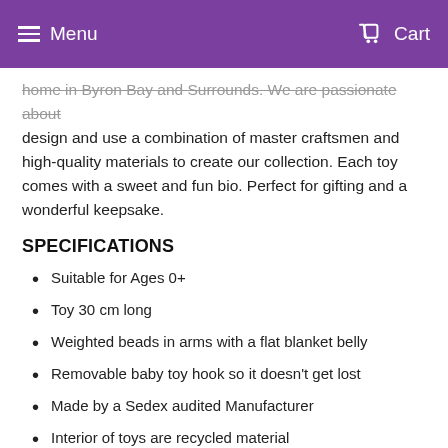Menu  Cart
home in Byron Bay and Surrounds. We are passionate about design and use a combination of master craftsmen and high-quality materials to create our collection. Each toy comes with a sweet and fun bio. Perfect for gifting and a wonderful keepsake.
SPECIFICATIONS
Suitable for Ages 0+
Toy 30 cm long
Weighted beads in arms with a flat blanket belly
Removable baby toy hook so it doesn't get lost
Made by a Sedex audited Manufacturer
Interior of toys are recycled material
100% Polyester interior and exterior
Machine washable